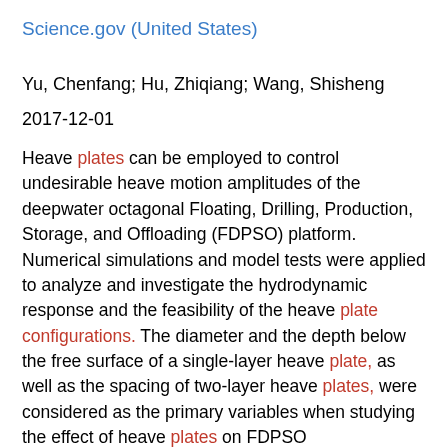Science.gov (United States)
Yu, Chenfang; Hu, Zhiqiang; Wang, Shisheng
2017-12-01
Heave plates can be employed to control undesirable heave motion amplitudes of the deepwater octagonal Floating, Drilling, Production, Storage, and Offloading (FDPSO) platform. Numerical simulations and model tests were applied to analyze and investigate the hydrodynamic response and the feasibility of the heave plate configurations. The diameter and the depth below the free surface of a single-layer heave plate, as well as the spacing of two-layer heave plates, were considered as the primary variables when studying the effect of heave plates on FDPSO hydrodynamics. The analysis results indicate that the heave plate diameter significantly affects the heave hydrodynamics, and heave performance could be improved with an increased diameter. In addition, increasing the depth below the free surface of a single-layer heave plate does not effectively suppress the heave motion within the range of draft depths tested. The target FDPSO obtained better heave characteristics with increased spacing between the two-layer